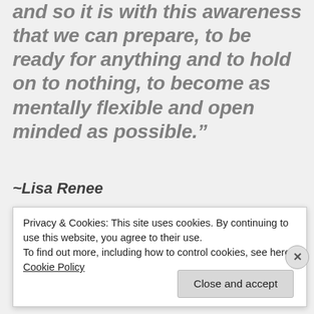and so it is with this awareness that we can prepare, to be ready for anything and to hold on to nothing, to become as mentally flexible and open minded as possible.”
~Lisa Renee
Many times, it has been discussed that the angelic
Privacy & Cookies: This site uses cookies. By continuing to use this website, you agree to their use.
To find out more, including how to control cookies, see here: Cookie Policy